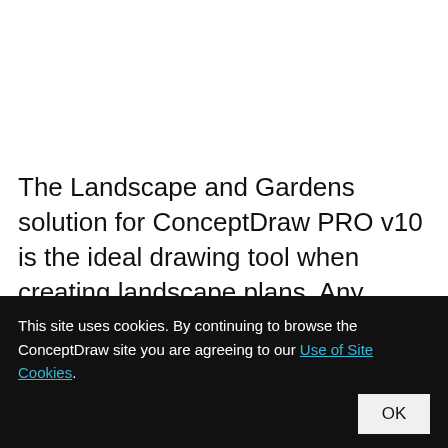The Landscape and Gardens solution for ConceptDraw PRO v10 is the ideal drawing tool when creating landscape plans. Any
This site uses cookies. By continuing to browse the ConceptDraw site you are agreeing to our Use of Site Cookies.